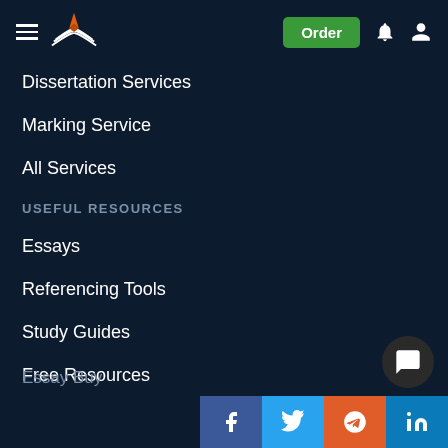Navigation bar with logo and Order button
Dissertation Services
Marking Service
All Services
USEFUL RESOURCES
Essays
Referencing Tools
Study Guides
Free Resources
Essay Buy
[Figure (screenshot): Social sharing bar with Facebook, Twitter, Reddit, LinkedIn, WhatsApp, Mendeley, ResearchGate icons]